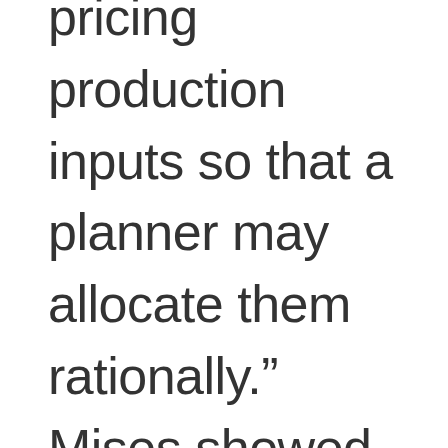pricing production inputs so that a planner may allocate them rationally.” Mises showed this to be the fatal flaw of